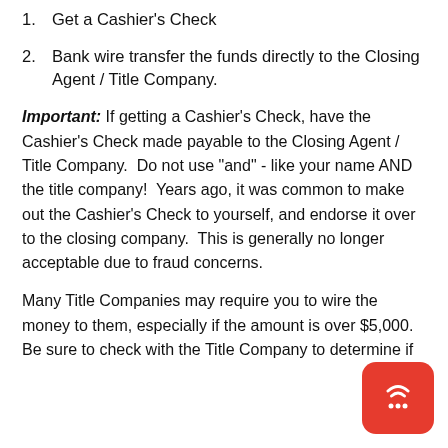1. Get a Cashier's Check
2. Bank wire transfer the funds directly to the Closing Agent / Title Company.
Important: If getting a Cashier's Check, have the Cashier's Check made payable to the Closing Agent / Title Company.  Do not use "and" - like your name AND the title company!  Years ago, it was common to make out the Cashier's Check to yourself, and endorse it over to the closing company.  This is generally no longer acceptable due to fraud concerns.
Many Title Companies may require you to wire the money to them, especially if the amount is over $5,000. Be sure to check with the Title Company to determine if